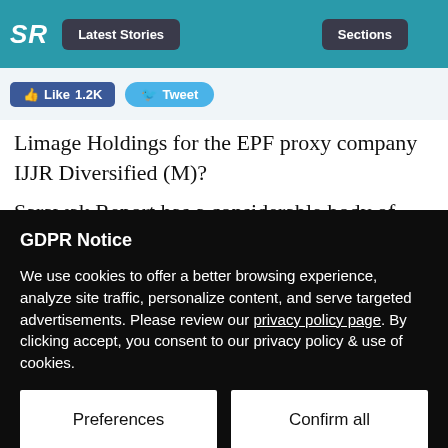SR  Latest Stories  Sections
Like 1.2K  Tweet
Limage Holdings for the EPF proxy company IJJR Diversified (M)?
Sarawak Report has a considerable body of signed documentation and banking details that strongly suggest that the
GDPR Notice
We use cookies to offer a better browsing experience, analyze site traffic, personalize content, and serve targeted advertisements. Please review our privacy policy page. By clicking accept, you consent to our privacy policy & use of cookies.
Preferences  Confirm all